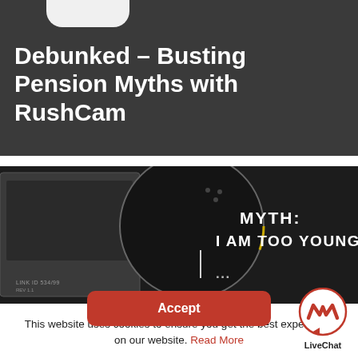Debunked – Busting Pension Myths with RushCam
[Figure (photo): Dark background photo showing a device/calculator on the left and a circular gauge/dial in the center with text reading 'MYTH: I AM TOO YOUNG TO' overlaid on the right side in bold white capital letters]
This website uses cookies to ensure you get the best experience on our website. Read More
Accept
[Figure (logo): LiveChat logo: a red speech bubble icon with a stylized M/W mark inside a circle, with 'LiveChat' text below]